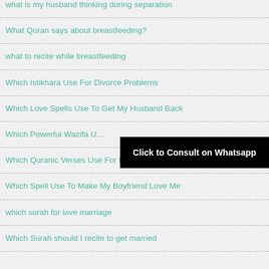what is my husband thinking during separation
What Quran says about breastfeeding?
what to recite while breastfeeding
Which Istikhara Use For Divorce Problems
Which Love Spells Use To Get My Husband Back
Which Powerful Wazifa U…
Which Quranic Verses Use For Love
Which Spell Use To Make My Boyfriend Love Me
which surah for love marriage
Which Surah should I recite to get married
[Figure (screenshot): Black banner overlay reading 'Click to Consult on Whatsapp']